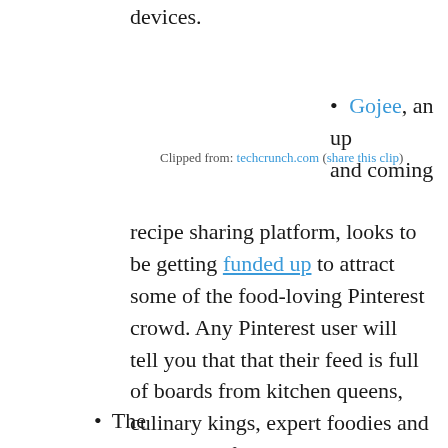devices.
Gojee, an up and coming recipe sharing platform, looks to be getting funded up to attract some of the food-loving Pinterest crowd. Any Pinterest user will tell you that that their feed is full of boards from kitchen queens, culinary kings, expert foodies and wish lists of the less experienced (mine is simply titled Food I Want In My Face). Gojee is described as the “Twitter for food” and could potentially couple well with the multitude of recipe sharing buzz that Pinterest has created in the last year or so.
Clipped from: techcrunch.com (share this clip)
The